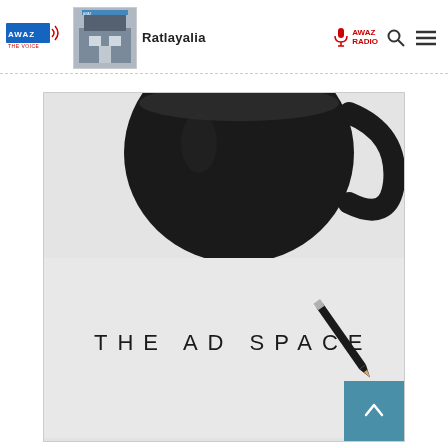[Figure (logo): AWAZ THE VOICE logo with blue and red text and sound wave symbol, alongside a photo of a building storefront]
Ratlayalia
[Figure (logo): AWAZ RADIO text with microphone icon in red]
[Figure (screenshot): A lifestyle photo showing a black coffee mug and a pencil on a white surface with the text THE AD SPACE displayed in spaced letters. A teal back-to-top button appears in the lower right corner.]